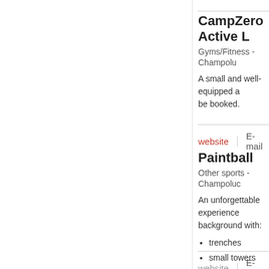CampZero Active L
Gyms/Fitness  -  Champolu
A small and well-equipped a be booked.
website   E-mail
Paintball
Other sports  -  Champoluc
An unforgettable experience background with:
trenches
small towers
nature shelters an...
website   E-mail